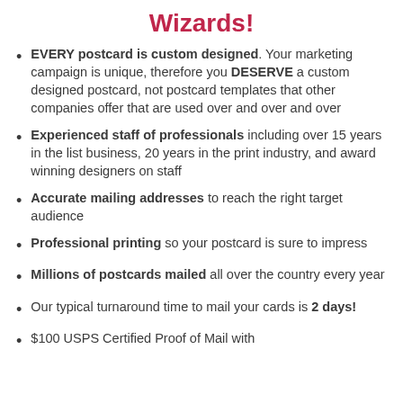Wizards!
EVERY postcard is custom designed. Your marketing campaign is unique, therefore you DESERVE a custom designed postcard, not postcard templates that other companies offer that are used over and over and over
Experienced staff of professionals including over 15 years in the list business, 20 years in the print industry, and award winning designers on staff
Accurate mailing addresses to reach the right target audience
Professional printing so your postcard is sure to impress
Millions of postcards mailed all over the country every year
Our typical turnaround time to mail your cards is 2 days!
$100 USPS Certified Proof of Mail with